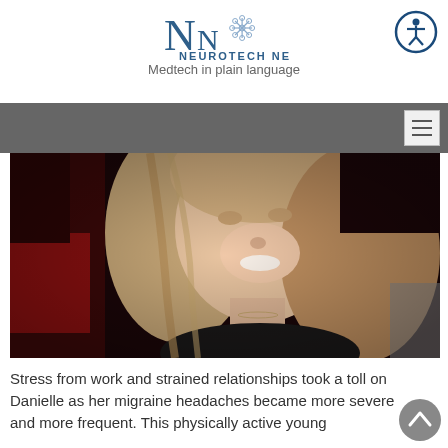[Figure (logo): Neurotech Network logo with stylized NN letters and neural network graphic]
Neurotech Network — Medtech in plain language
[Figure (photo): Young blonde woman smiling, taken in low light setting, wearing a black top with a necklace]
Stress from work and strained relationships took a toll on Danielle as her migraine headaches became more severe and more frequent. This physically active young